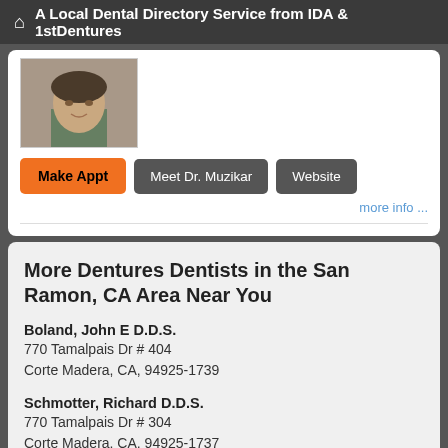🏠 A Local Dental Directory Service from IDA & 1stDentures
[Figure (photo): Partial photo of a man in a checked shirt, cropped, showing face and upper body]
Make Appt
Meet Dr. Muzikar
Website
more info ...
More Dentures Dentists in the San Ramon, CA Area Near You
Boland, John E D.D.S.
770 Tamalpais Dr # 404
Corte Madera, CA, 94925-1739
Schmotter, Richard D.D.S.
770 Tamalpais Dr # 304
Corte Madera, CA, 94925-1737
Doctor – Activate Your Free 1stDentures